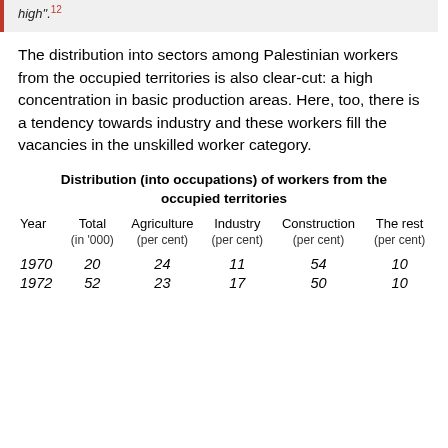high".12
The distribution into sectors among Palestinian workers from the occupied territories is also clear-cut: a high concentration in basic production areas. Here, too, there is a tendency towards industry and these workers fill the vacancies in the unskilled worker category.
Distribution (into occupations) of workers from the occupied territories
| Year | Total | Agriculture | Industry | Construction | The rest |
| --- | --- | --- | --- | --- | --- |
|  | (in ‘000) | (per cent) | (per cent) | (per cent) | (per cent) |
| 1970 | 20 | 24 | 11 | 54 | 10 |
| 1972 | 52 | 23 | 17 | 50 | 10 |